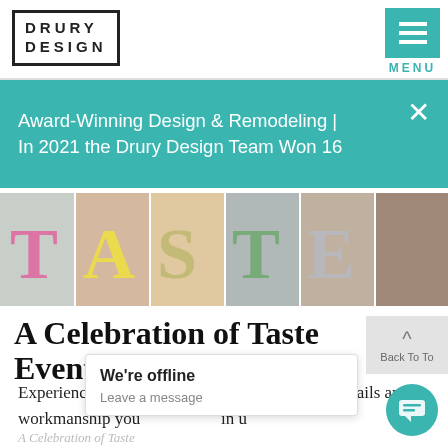[Figure (logo): Drury Design logo — stylized text in a bordered box]
[Figure (screenshot): Teal menu button with three horizontal bars and MENU label below]
Award-Winning Design & Remodeling | In 2021 the Drury Design Team Won 16
[Figure (photo): TASTE event photo collage strip with colorful letters T-A-S-T-E overlaid on kitchen/interior images]
A Celebration of Taste Event
Back To To
Experience Rutt HandCrafted Cabinetry's fine details and workmanship you in u
We're offline
Leave a message
A Celebration of Taste